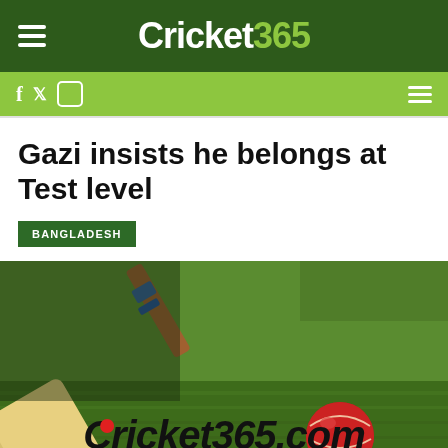Cricket365
Gazi insists he belongs at Test level
BANGLADESH
[Figure (photo): Cricket bat and red cricket ball lying on green grass, with Cricket365.com logo overlay]